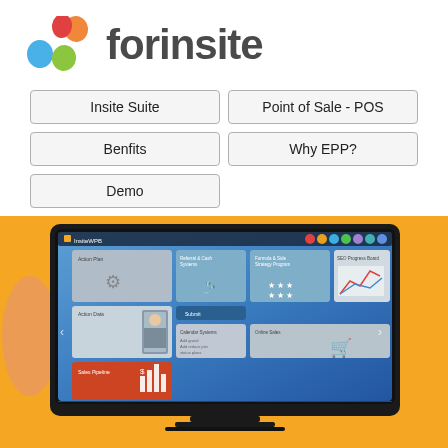[Figure (logo): Forinsite logo with colorful egg-shaped icons (orange, red, blue, green) and the text 'forinsite' in dark gray]
Insite Suite
Point of Sale - POS
Benfits
Why EPP?
Demo
[Figure (screenshot): A flat-screen TV/monitor displaying the InsiteWPB dashboard application with a blue gradient background, showing tiles including Action Plan, Action Data, Sales Pipeline (orange), Calendar Systems, Online Sales, and other menu items. The TV is shown on an orange/yellow background with a person's hand partially visible.]